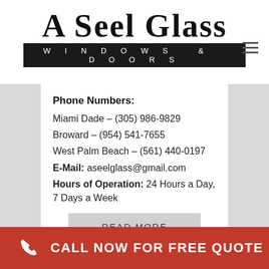[Figure (logo): A Seel Glass Windows & Doors logo — large serif text 'A Seel Glass' above a black bar reading 'WINDOWS & DOORS' in spaced white sans-serif capitals]
Phone Numbers:
Miami Dade – (305) 986-9829
Broward – (954) 541-7655
West Palm Beach – (561) 440-0197
E-Mail: aseelglass@gmail.com
Hours of Operation: 24 Hours a Day, 7 Days a Week
READ MORE
CALL NOW FOR FREE QUOTE